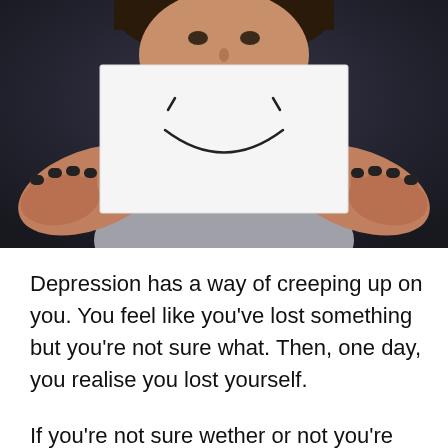[Figure (photo): A person holding up a white piece of paper with a hand-drawn smiley face in front of their face, covering the lower half. The person has dark painted fingernails and is wearing a gray top. The background is dark.]
Depression has a way of creeping up on you. You feel like you've lost something but you're not sure what. Then, one day, you realise you lost yourself.
If you're not sure wether or not you're